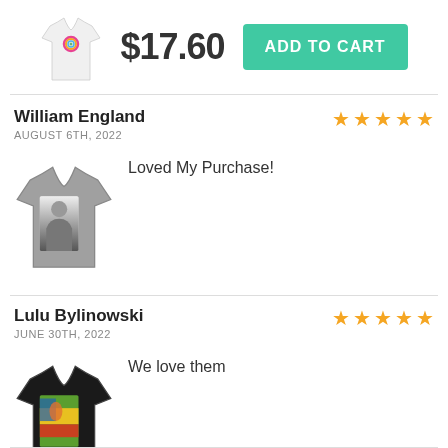[Figure (photo): White tank top shirt with rainbow circle graphic, price $17.60, and ADD TO CART button]
William England
AUGUST 6TH, 2022
[Figure (photo): Gray tank top with black and white photo of a woman]
Loved My Purchase!
Lulu Bylinowski
JUNE 30TH, 2022
[Figure (photo): Black tank top with colorful graphic]
We love them